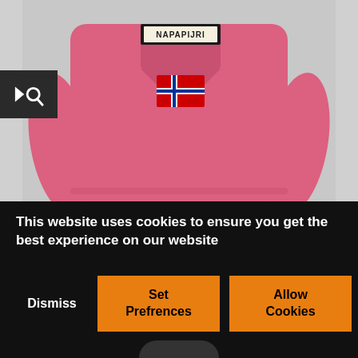[Figure (photo): Pink Napapijri anorak jacket with brand logo patch and Norwegian flag patch on chest, displayed flat on grey background. A search icon button overlay appears on the left.]
This website uses cookies to ensure you get the best experience on our website
Dismiss
Set Prefrences
Allow Cookies